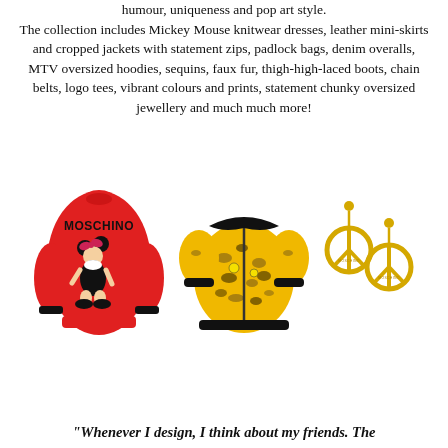humour, uniqueness and pop art style. The collection includes Mickey Mouse knitwear dresses, leather mini-skirts and cropped jackets with statement zips, padlock bags, denim overalls, MTV oversized hoodies, sequins, faux fur, thigh-high-laced boots, chain belts, logo tees, vibrant colours and prints, statement chunky oversized jewellery and much much more!
[Figure (photo): Three Moschino fashion items: a red Minnie Mouse knitwear dress with MOSCHINO text, a yellow/black leopard print zip-up mini dress, and gold peace sign drop earrings.]
"Whenever I design, I think about my friends. The